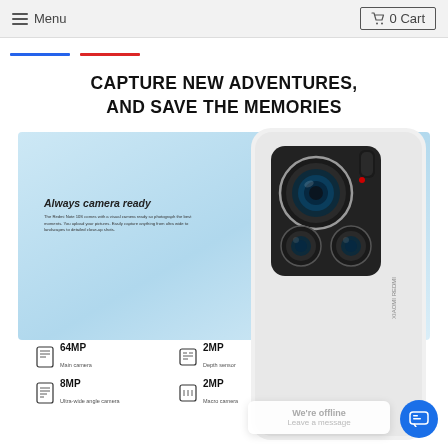Menu  0 Cart
CAPTURE NEW ADVENTURES, AND SAVE THE MEMORIES
[Figure (photo): Xiaomi Redmi Note 10 smartphone showing quad camera module, displayed on a light blue background with 'Always camera ready' marketing text]
64MP Main camera  2MP Depth sensor  8MP Ultra-wide angle camera  2MP Macro camera